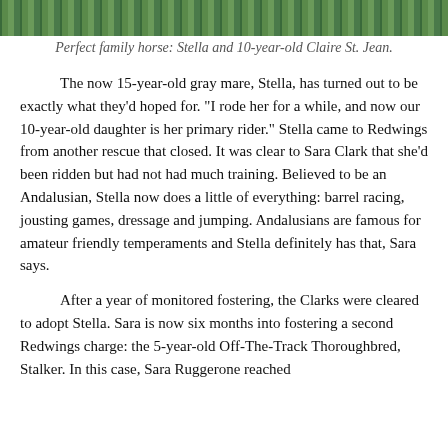[Figure (photo): Top strip of a photograph showing Stella the horse and 10-year-old Claire St. Jean outdoors with green foliage in the background.]
Perfect family horse: Stella and 10-year-old Claire St. Jean.
The now 15-year-old gray mare, Stella, has turned out to be exactly what they'd hoped for. “I rode her for a while, and now our 10-year-old daughter is her primary rider.” Stella came to Redwings from another rescue that closed. It was clear to Sara Clark that she’d been ridden but had not had much training. Believed to be an Andalusian, Stella now does a little of everything: barrel racing, jousting games, dressage and jumping. Andalusians are famous for amateur friendly temperaments and Stella definitely has that, Sara says.
After a year of monitored fostering, the Clarks were cleared to adopt Stella. Sara is now six months into fostering a second Redwings charge: the 5-year-old Off-The-Track Thoroughbred, Stalker. In this case, Sara Ruggerone reached